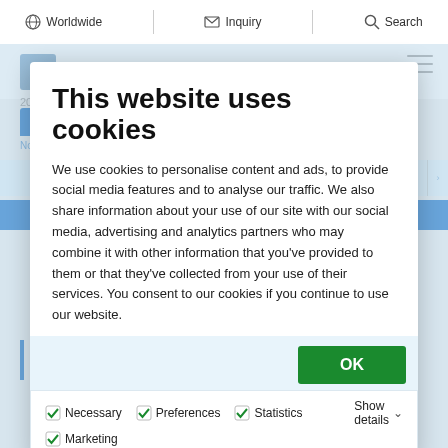Worldwide | Inquiry | Search
[Figure (screenshot): Mitsui Chemicals website background with navigation tabs and notice link]
This website uses cookies
We use cookies to personalise content and ads, to provide social media features and to analyse our traffic. We also share information about your use of our site with our social media, advertising and analytics partners who may combine it with other information that you've provided to them or that they've collected from your use of their services. You consent to our cookies if you continue to use our website.
OK
Necessary
Preferences
Statistics
Marketing
Show details
Product-Specific Content / Websites